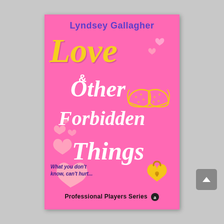[Figure (illustration): Book cover for 'Love & Other Forbidden Things' by Lyndsey Gallagher. Hot pink background with yellow script title 'Love', white script subtitle 'Other Forbidden Things', decorative pink hearts, a yellow illustrated bra, a yellow heart-shaped padlock. Author name in purple at top. Tagline 'What you don't know, can't hurt...' in dark blue italic. Series name 'Professional Players Series' at bottom with small logo.]